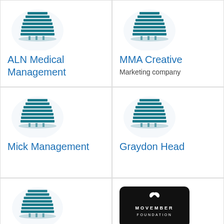[Figure (logo): Building icon for ALN Medical Management]
ALN Medical Management
[Figure (logo): Building icon for MMA Creative]
MMA Creative
Marketing company
[Figure (logo): Building icon for Mick Management]
Mick Management
[Figure (logo): Building icon for Graydon Head]
Graydon Head
[Figure (logo): Building icon for University of Florida Alumni Association]
University of Florida Alumni Association
[Figure (logo): Movember Foundation logo — black rounded rectangle with white mustache and text MOVEMBER FOUNDATION]
Movember